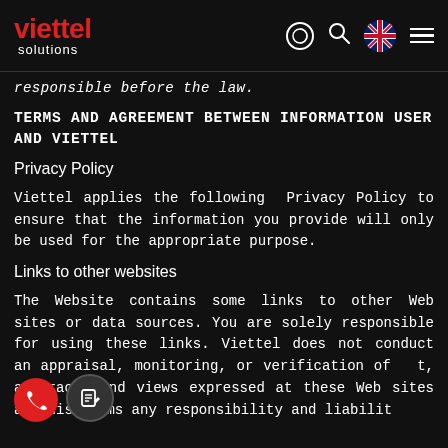viettel solutions
responsible before the law.
TERMS AND AGREEMENT BETWEEN INFORMATION USER AND VIETTEL
Privacy Policy
Viettel applies the following Privacy Policy to ensure that the information you provide will only be used for the appropriate purpose.
Links to other websites
The Website contains some links to other Web sites or data sources. You are solely responsible for using these links. Viettel does not conduct an appraisal, monitoring, or verification of content, accuracy, and views expressed at these Web sites and disclaims any responsibility and liability